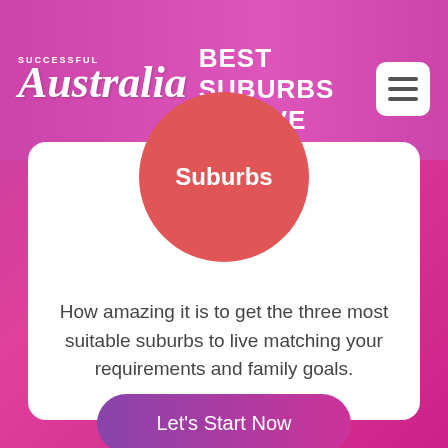SUCCESSFUL Australia – BEST SUBURBS TO LIVE
[Figure (illustration): Red circle badge with white bold text 'Suburbs' centered inside]
How amazing it is to get the three most suitable suburbs to live matching your requirements and family goals.
Let's Start Now